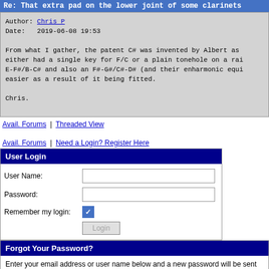Re: That extra pad on the lower joint of some clarinets
Author: Chris P
Date:   2019-06-08 19:53

From what I gather, the patent C# was invented by Albert as either had a single key for F/C or a plain tonehole on a rai E-F#/B-C# and also an F#-G#/C#-D# (and their enharmonic equi easier as a result of it being fitted.

Chris.
Avail. Forums | Threaded View
Avail. Forums | Need a Login? Register Here
User Login
User Name:
Password:
Remember my login:
Forgot Your Password?
Enter your email address or user name below and a new password will be sent to the email address associated with your profile.